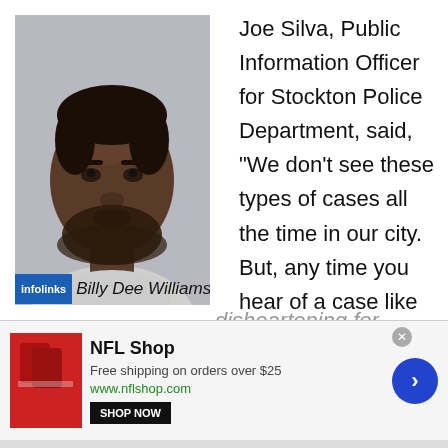[Figure (photo): Mugshot photo of a Black man with a beard, wearing a light gray shirt, against a gray background]
Billy Dee Williams'
Joe Silva, Public Information Officer for Stockton Police Department, said, “We don’t see these types of cases all the time in our city. But, any time you hear of a case like this, it’s just disheartening for
[Figure (screenshot): NFL Shop advertisement banner: Free shipping on orders over $25, www.nflshop.com, with SHOP NOW button and navigation arrow]